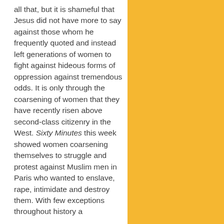all that, but it is shameful that Jesus did not have more to say against those whom he frequently quoted and instead left generations of women to fight against hideous forms of oppression against tremendous odds. It is only through the coarsening of women that they have recently risen above second-class citizenry in the West. Sixty Minutes this week showed women coarsening themselves to struggle and protest against Muslim men in Paris who wanted to enslave, rape, intimidate and destroy them. With few exceptions throughout history a